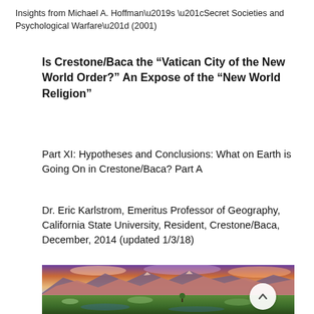Insights from Michael A. Hoffman's “Secret Societies and Psychological Warfare” (2001)
Is Crestone/Baca the “Vatican City of the New World Order?” An Expose of the “New World Religion”
Part XI: Hypotheses and Conclusions: What on Earth is Going On in Crestone/Baca? Part A
Dr. Eric Karlstrom, Emeritus Professor of Geography, California State University, Resident, Crestone/Baca, December, 2014 (updated 1/3/18)
[Figure (photo): Panoramic landscape photo of mountains with colorful sunset sky and green meadow/wetlands in foreground]